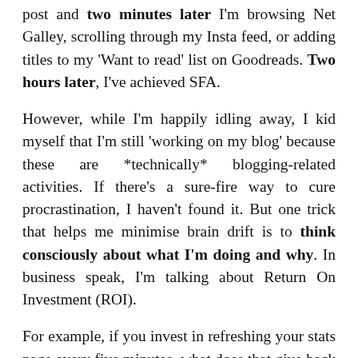post and two minutes later I'm browsing Net Galley, scrolling through my Insta feed, or adding titles to my 'Want to read' list on Goodreads. Two hours later, I've achieved SFA.
However, while I'm happily idling away, I kid myself that I'm still 'working on my blog' because these are *technically* blogging-related activities. If there's a sure-fire way to cure procrastination, I haven't found it. But one trick that helps me minimise brain drift is to think consciously about what I'm doing and why. In business speak, I'm talking about Return On Investment (ROI).
For example, if you invest in refreshing your stats page every five minutes, what does that give back to your blog? Nothing. The answer is nothing. Stop doing that. Whereas, if you spend two hours writing a blog post and that post then brings you a bunch of readers over the coming days, weeks, months